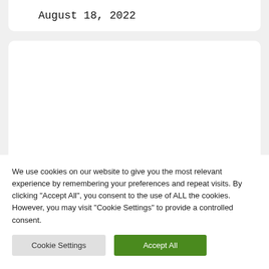August 18, 2022
We use cookies on our website to give you the most relevant experience by remembering your preferences and repeat visits. By clicking "Accept All", you consent to the use of ALL the cookies. However, you may visit "Cookie Settings" to provide a controlled consent.
Cookie Settings | Accept All